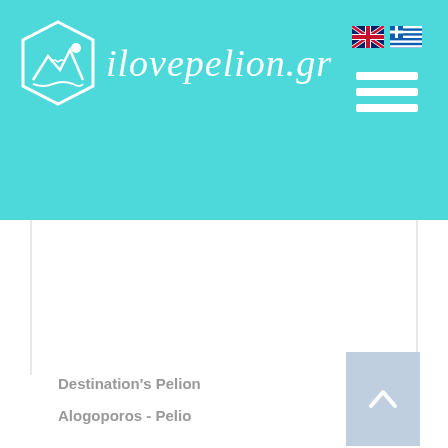ilovepelion.gr
[Figure (logo): ilovepelion.gr website logo with hexagonal icon and site name in italic white text on teal background, with UK and Greek flags and hamburger menu icon]
Destination's Pelion
Alogoporos - Pelio